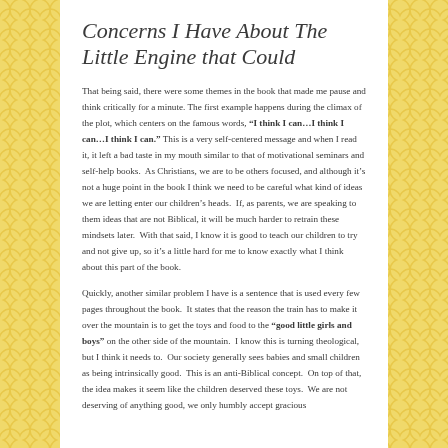Concerns I Have About The Little Engine that Could
That being said, there were some themes in the book that made me pause and think critically for a minute. The first example happens during the climax of the plot, which centers on the famous words, “I think I can…I think I can…I think I can.” This is a very self-centered message and when I read it, it left a bad taste in my mouth similar to that of motivational seminars and self-help books.  As Christians, we are to be others focused, and although it’s not a huge point in the book I think we need to be careful what kind of ideas we are letting enter our children’s heads.  If, as parents, we are speaking to them ideas that are not Biblical, it will be much harder to retrain these mindsets later.  With that said, I know it is good to teach our children to try and not give up, so it’s a little hard for me to know exactly what I think about this part of the book.
Quickly, another similar problem I have is a sentence that is used every few pages throughout the book.  It states that the reason the train has to make it over the mountain is to get the toys and food to the “good little girls and boys” on the other side of the mountain.  I know this is turning theological, but I think it needs to.  Our society generally sees babies and small children as being intrinsically good.  This is an anti-Biblical concept.  On top of that, the idea makes it seem like the children deserved these toys.  We are not deserving of anything good, we only humbly accept gracious